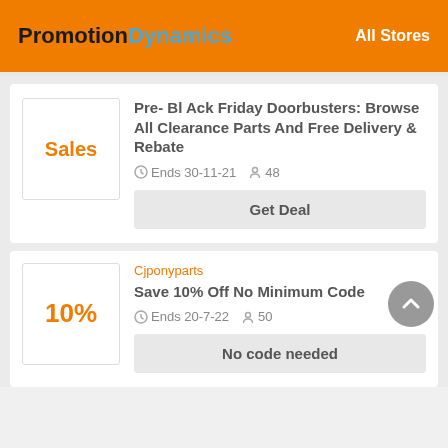PromotionDynamics  All Stores
[Figure (other): Deal card with Sales badge]
Pre- Bl Ack Friday Doorbusters: Browse All Clearance Parts And Free Delivery & Rebate
Ends 30-11-21  48
Get Deal
Cjponyparts
Save 10% Off No Minimum Code
Ends 20-7-22  50
No code needed